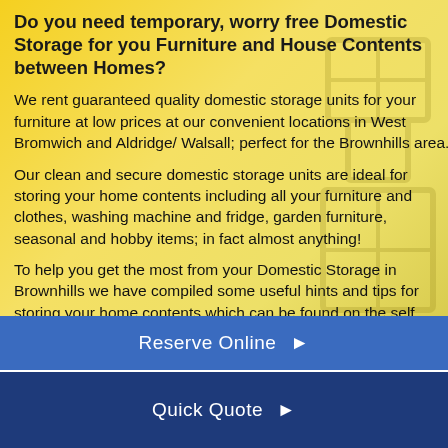Do you need temporary, worry free Domestic Storage for you Furniture and House Contents between Homes?
We rent guaranteed quality domestic storage units for your furniture at low prices at our convenient locations in West Bromwich and Aldridge/ Walsall; perfect for the Brownhills area.
Our clean and secure domestic storage units are ideal for storing your home contents including all your furniture and clothes, washing machine and fridge, garden furniture, seasonal and hobby items; in fact almost anything!
To help you get the most from your Domestic Storage in Brownhills we have compiled some useful hints and tips for storing your home contents which can be found on the self storage tips page.
Reserve Online ▶
Quick Quote ▶